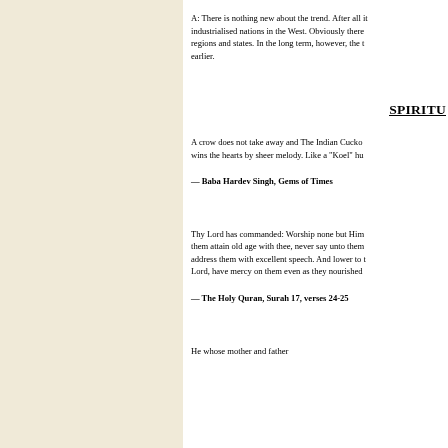A: There is nothing new about the trend. After all it has happened in industrialised nations in the West. Obviously there are differences between regions and states. In the long term, however, the trend mentioned earlier.
SPIRITU…
A crow does not take away and The Indian Cuckoo (Koel) wins the hearts by sheer melody. Like a "Koel" hu…
— Baba Hardev Singh, Gems of Times
Thy Lord has commanded: Worship none but Him… them attain old age with thee, never say unto them… address them with excellent speech. And lower to t… Lord, have mercy on them even as they nourished…
— The Holy Quran, Surah 17, verses 24-25
He whose mother and father